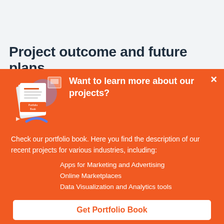Project outcome and future plans
[Figure (illustration): Portfolio Book illustration with documents and decorative elements on orange background]
Want to learn more about our projects?
Check our portfolio book. Here you find the description of our recent projects for various industries, including:
Apps for Marketing and Advertising
Online Marketplaces
Data Visualization and Analytics tools
Get Portfolio Book